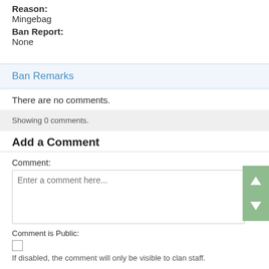Reason: Mingebag
Ban Report: None
Ban Remarks
There are no comments.
Showing 0 comments.
Add a Comment
Comment:
Enter a comment here...
Comment is Public:
If disabled, the comment will only be visible to clan staff.